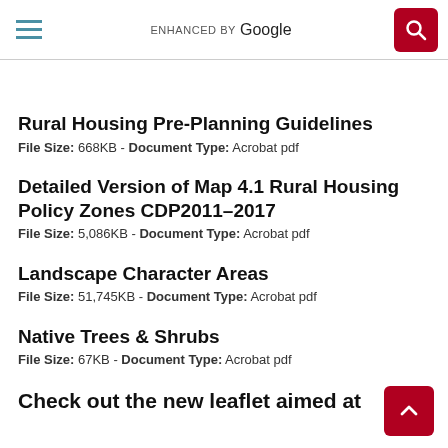ENHANCED BY Google
Rural Housing Pre-Planning Guidelines
File Size: 668KB - Document Type: Acrobat pdf
Detailed Version of Map 4.1 Rural Housing Policy Zones CDP2011-2017
File Size: 5,086KB - Document Type: Acrobat pdf
Landscape Character Areas
File Size: 51,745KB - Document Type: Acrobat pdf
Native Trees & Shrubs
File Size: 67KB - Document Type: Acrobat pdf
Check out the new leaflet aimed at